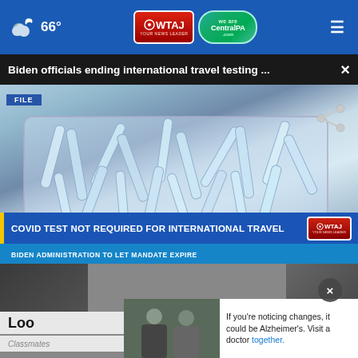66° WTAJ CentralPA.com
Biden officials ending international travel testing ...
[Figure (screenshot): Video thumbnail showing COVID test tubes/syringes in a container with lower-third ticker reading 'COVID TEST NOT REQUIRED FOR INTERNATIONAL TRAVEL' and 'BIDEN ADMINISTRATION TO LET MANDATE EXPIRE', FILE badge in upper left, share icon upper right]
[Figure (photo): Advertisement banner showing two men (Alzheimer's awareness ad) with text: If you're noticing changes, it could be Alzheimer's. Visit a doctor together.]
Loo
Classmates